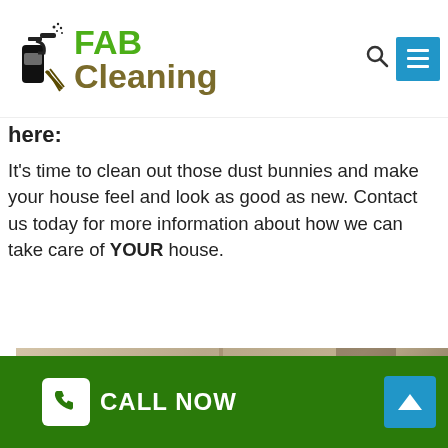FAB Cleaning
here:
It’s time to clean out those dust bunnies and make your house feel and look as good as new. Contact us today for more information about how we can take care of YOUR house.
[Figure (photo): Photo of curtains or blinds with a partially visible dark figure at the bottom, indoor cleaning scene]
CALL NOW